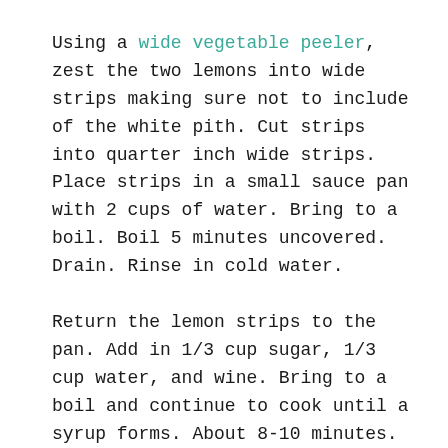Using a wide vegetable peeler, zest the two lemons into wide strips making sure not to include of the white pith. Cut strips into quarter inch wide strips. Place strips in a small sauce pan with 2 cups of water. Bring to a boil. Boil 5 minutes uncovered. Drain. Rinse in cold water.
Return the lemon strips to the pan. Add in 1/3 cup sugar, 1/3 cup water, and wine. Bring to a boil and continue to cook until a syrup forms. About 8-10 minutes. Turn to a simmer and simmer 5 minutes until peels are translucent. Remove from heat. Pour remaining sugar onto a sheet pan and spread evenly around. Using a slotted spoon or fork, remove peels and place on sugar. Toss to coat peels in the sugar. Separate peels so none are sticking together. Move to